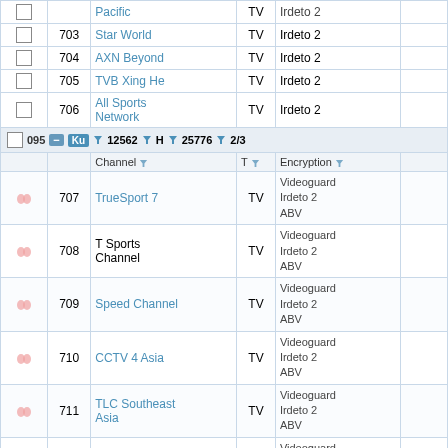|  | Num | Channel | T | Encryption |  |
| --- | --- | --- | --- | --- | --- |
| ☐ |  | Pacific | TV | Irdeto 2 |  |
| ☐ | 703 | Star World | TV | Irdeto 2 |  |
| ☐ | 704 | AXN Beyond | TV | Irdeto 2 |  |
| ☐ | 705 | TVB Xing He | TV | Irdeto 2 |  |
| ☐ | 706 | All Sports Network | TV | Irdeto 2 |  |
| [SAT ROW] | 095 | Ku 12562 H 25776 2/3 |  |  |  |
|  |  | Channel  T  Encryption |  |  |  |
| ♥♥ | 707 | TrueSport 7 | TV | Videoguard Irdeto 2 ABV |  |
| ♥♥ | 708 | T Sports Channel | TV | Videoguard Irdeto 2 ABV |  |
| ♥♥ | 709 | Speed Channel | TV | Videoguard Irdeto 2 ABV |  |
| ♥♥ | 710 | CCTV 4 Asia | TV | Videoguard Irdeto 2 ABV |  |
| ♥♥ | 711 | TLC Southeast Asia | TV | Videoguard Irdeto 2 ABV |  |
| ♥♥ | 712 | True Explore Life | TV | Videoguard Irdeto 2 ABV |  |
| ♥♥ | 713 | Disney Channel Thailand | TV | Videoguard Irdeto 2 |  |
| ♥♥ |  | True Spark | TV | Videoguard |  |